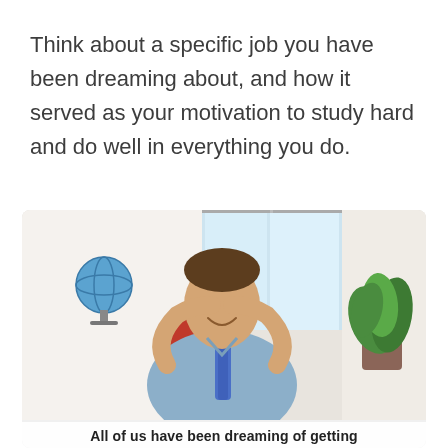Think about a specific job you have been dreaming about, and how it served as your motivation to study hard and do well in everything you do.
[Figure (photo): A smiling man in a light blue dress shirt and blue tie, sitting relaxed with hands clasped behind his head, looking upward contentedly. Background shows a window, a globe, and a green plant in an office setting.]
All of us have been dreaming of getting